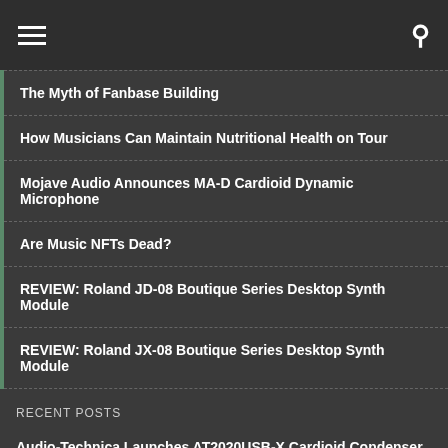The Myth of Fanbase Building
How Musicians Can Maintain Nutritional Health on Tour
Mojave Audio Announces MA-D Cardioid Dynamic Microphone
Are Music NFTs Dead?
REVIEW: Roland JD-08 Boutique Series Desktop Synth Module
REVIEW: Roland JX-08 Boutique Series Desktop Synth Module
RECENT POSTS
Audio-Technica Launches AT2020USB-X Cardioid Condenser Microphone
REVIEW: PRS SE Silver Sky
REVIEW: Phenyx Pro PTU-5000A 4-Channel Wireless Mic System